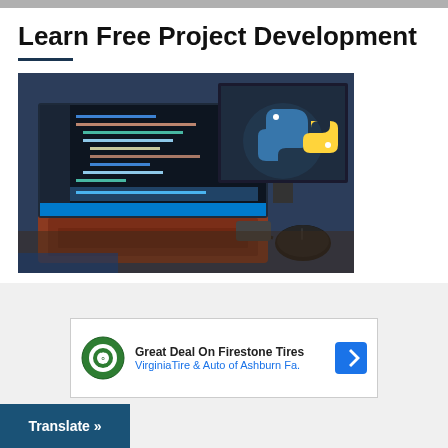Learn Free Project Development
[Figure (photo): Laptop with Python code editor open on screen, Python logo visible in top-right area, mouse on desk]
[Figure (infographic): Advertisement box: Great Deal On Firestone Tires - Virginia Tire & Auto of Ashburn Fa. with tire/auto logo and navigation arrow icon]
Translate »